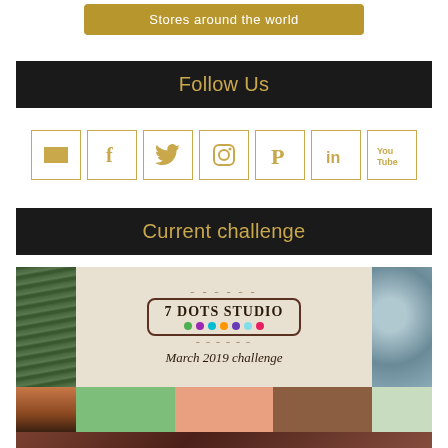[Figure (other): Gold/brown button with text 'Stores around the world']
Follow Us
[Figure (infographic): Row of 7 social media icon buttons (email, Facebook, Twitter, Instagram, Pinterest, LinkedIn, YouTube) with gold borders on white background]
Current challenge
[Figure (infographic): 7 Dots Studio March 2019 challenge image collage: pine branches, logo with colored dots, water droplets, bare tree, color swatches (green, peach, brown), branch photo strip]